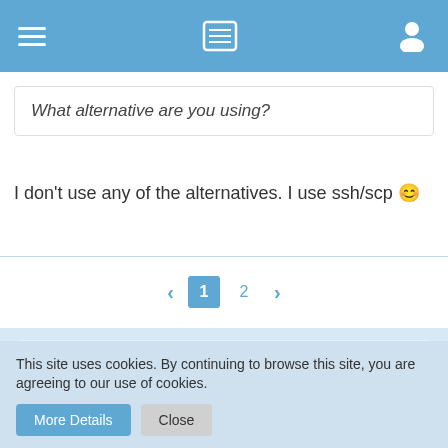Navigation bar with menu, list, and user icons
What alternative are you using?
I don't use any of the alternatives. I use ssh/scp 🙂
< 1 2 >
Participate now!
Don't have an account yet? Register yourself now and
This site uses cookies. By continuing to browse this site, you are agreeing to our use of cookies.